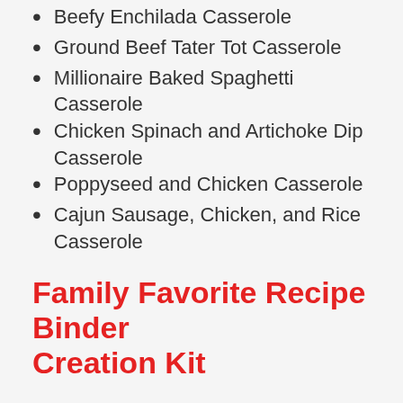Beefy Enchilada Casserole
Ground Beef Tater Tot Casserole
Millionaire Baked Spaghetti Casserole
Chicken Spinach and Artichoke Dip Casserole
Poppyseed and Chicken Casserole
Cajun Sausage, Chicken, and Rice Casserole
Family Favorite Recipe Binder Creation Kit
The Family Favorite Recipes Binder Creation Kit is for busy moms who need help thinking, planning, and organizing their family meals. It includes printable pages of doable organizing helps for